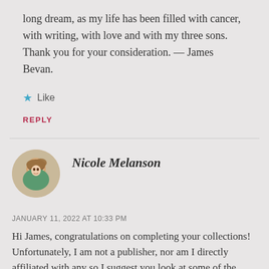long dream, as my life has been filled with cancer, with writing, with love and with my three sons. Thank you for your consideration. — James Bevan.
Like
REPLY
Nicole Melanson
JANUARY 11, 2022 AT 10:33 PM
Hi James, congratulations on completing your collections! Unfortunately, I am not a publisher, nor am I directly affiliated with any so I suggest you look at some of the